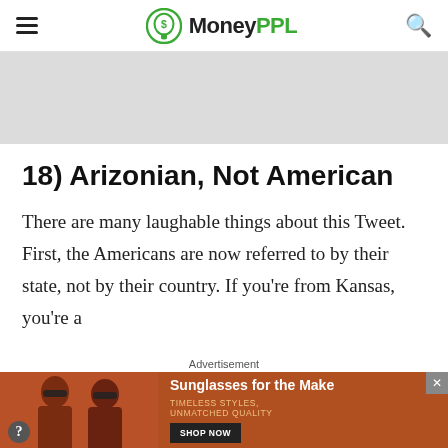MoneyPPL
[Figure (other): Gray advertisement banner placeholder area]
18) Arizonian, Not American
There are many laughable things about this Tweet. First, the Americans are now referred to by their state, not by their country. If you're from Kansas, you're a
[Figure (other): Advertisement banner: Sunglasses for the Make - TIMELESS STYLES, UNMATCHED QUALITY - SHOP NOW button, with photo of two women in sunglasses]